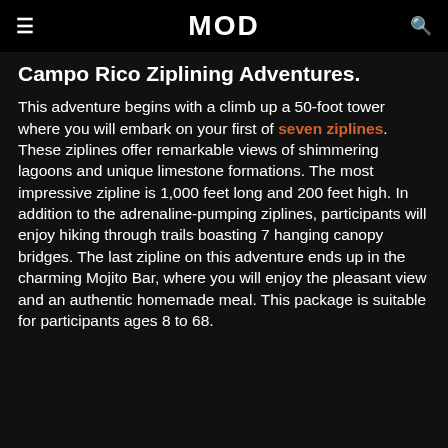MOD
Campo Rico Ziplining Adventures.
This adventure begins with a climb up a 50-foot tower where you will embark on your first of seven ziplines. These ziplines offer remarkable views of shimmering lagoons and unique limestone formations. The most impressive zipline is 1,000 feet long and 200 feet high. In addition to the adrenaline-pumping ziplines, participants will enjoy hiking through trails boasting 7 hanging canopy bridges. The last zipline on this adventure ends up in the charming Mojito Bar, where you will enjoy the pleasant view and an authentic homemade meal. This package is suitable for participants ages 8 to 68.